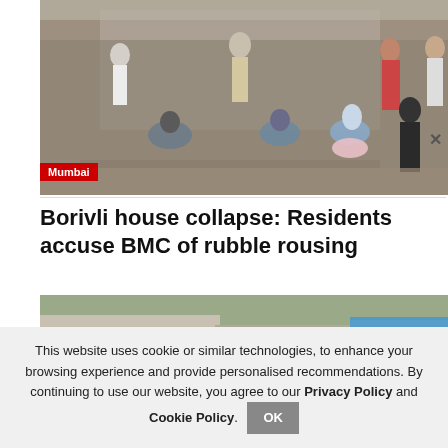[Figure (photo): Street scene with people sitting on pavement and others walking, appears to be Mumbai street, with buildings in background]
Mumbai
Borivli house collapse: Residents accuse BMC of rubble rousing
[Figure (photo): Building exterior with trees, blue tarp visible on rooftop, urban scene]
This website uses cookie or similar technologies, to enhance your browsing experience and provide personalised recommendations. By continuing to use our website, you agree to our Privacy Policy and Cookie Policy.